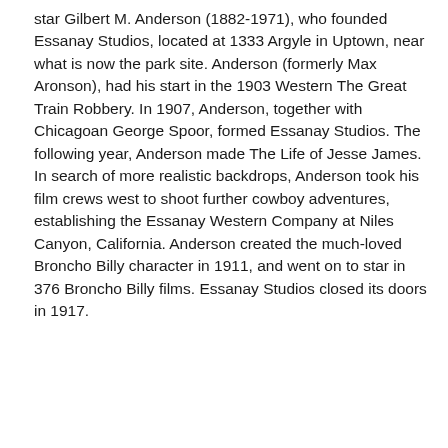star Gilbert M. Anderson (1882-1971), who founded Essanay Studios, located at 1333 Argyle in Uptown, near what is now the park site. Anderson (formerly Max Aronson), had his start in the 1903 Western The Great Train Robbery. In 1907, Anderson, together with Chicagoan George Spoor, formed Essanay Studios. The following year, Anderson made The Life of Jesse James. In search of more realistic backdrops, Anderson took his film crews west to shoot further cowboy adventures, establishing the Essanay Western Company at Niles Canyon, California. Anderson created the much-loved Broncho Billy character in 1911, and went on to star in 376 Broncho Billy films. Essanay Studios closed its doors in 1917.